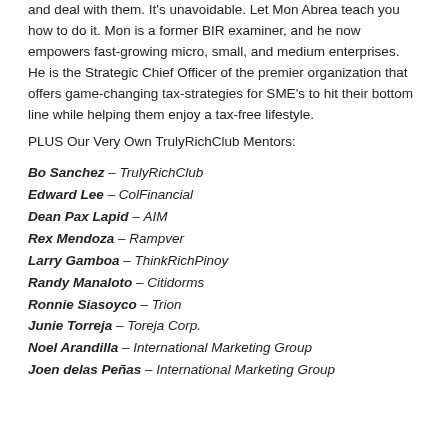and deal with them. It's unavoidable. Let Mon Abrea teach you how to do it. Mon is a former BIR examiner, and he now empowers fast-growing micro, small, and medium enterprises. He is the Strategic Chief Officer of the premier organization that offers game-changing tax-strategies for SME's to hit their bottom line while helping them enjoy a tax-free lifestyle.
PLUS Our Very Own TrulyRichClub Mentors:
Bo Sanchez – TrulyRichClub
Edward Lee – ColFinancial
Dean Pax Lapid – AIM
Rex Mendoza – Rampver
Larry Gamboa – ThinkRichPinoy
Randy Manaloto – Citidorms
Ronnie Siasoyco – Trion
Junie Torreja – Toreja Corp.
Noel Arandilla – International Marketing Group
Joen delas Peñas – International Marketing Group